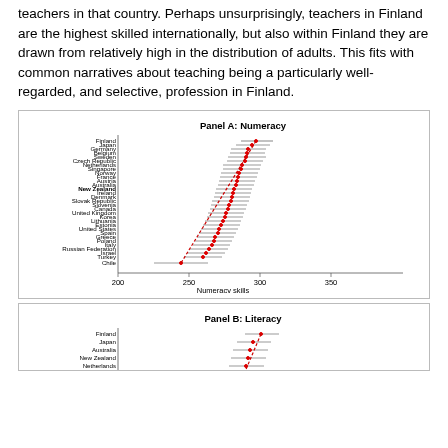teachers in that country. Perhaps unsurprisingly, teachers in Finland are the highest skilled internationally, but also within Finland they are drawn from relatively high in the distribution of adults. This fits with common narratives about teaching being a particularly well-regarded, and selective, profession in Finland.
[Figure (continuous-plot): Horizontal dot-and-whisker plot showing numeracy skills scores for teachers across many countries, ordered from highest (Finland) to lowest (Chile), with a red dashed trend line. X-axis: Numeracy skills, range approximately 200-350.]
[Figure (continuous-plot): Horizontal dot-and-whisker plot showing literacy skills scores for teachers across countries, ordered from highest (Finland) to lowest, with a red dashed trend line. Partially visible at bottom of page.]